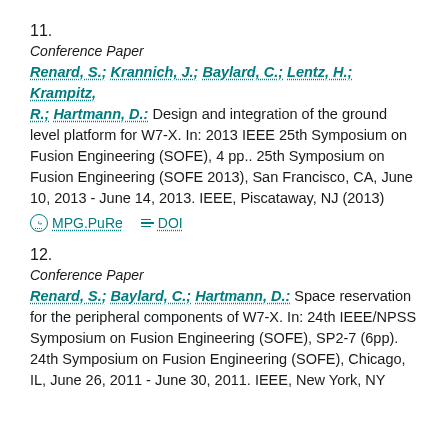11.
Conference Paper
Renard, S.; Krannich, J.; Baylard, C.; Lentz, H.; Krampitz, R.; Hartmann, D.: Design and integration of the ground level platform for W7-X. In: 2013 IEEE 25th Symposium on Fusion Engineering (SOFE), 4 pp.. 25th Symposium on Fusion Engineering (SOFE 2013), San Francisco, CA, June 10, 2013 - June 14, 2013. IEEE, Piscataway, NJ (2013)
MPG.PuRe   DOI
12.
Conference Paper
Renard, S.; Baylard, C.; Hartmann, D.: Space reservation for the peripheral components of W7-X. In: 24th IEEE/NPSS Symposium on Fusion Engineering (SOFE), SP2-7 (6pp). 24th Symposium on Fusion Engineering (SOFE), Chicago, IL, June 26, 2011 - June 30, 2011. IEEE, New York, NY